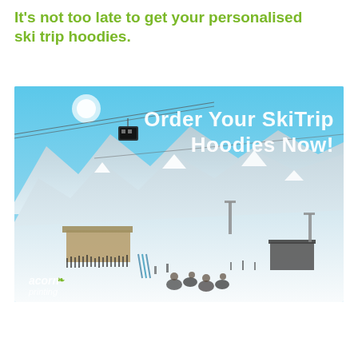It's not too late to get your personalised ski trip hoodies.
[Figure (photo): An advertisement photo showing a snowy ski resort with cable car/gondola lifts, mountains in the background, people gathered at a base area, and overlay text reading 'Order Your SkiTrip Hoodies Now!' with an Acorn Printing logo in the bottom left corner.]